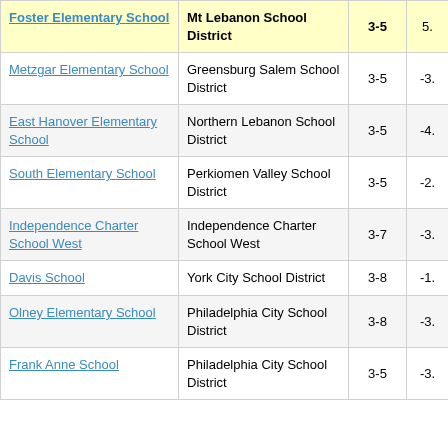| School | District | Grades | Score |
| --- | --- | --- | --- |
| Foster Elementary School | Mt Lebanon School District | 3-5 | 5. |
| Metzgar Elementary School | Greensburg Salem School District | 3-5 | -3. |
| East Hanover Elementary School | Northern Lebanon School District | 3-5 | -4. |
| South Elementary School | Perkiomen Valley School District | 3-5 | -2. |
| Independence Charter School West | Independence Charter School West | 3-7 | -3. |
| Davis School | York City School District | 3-8 | -1. |
| Olney Elementary School | Philadelphia City School District | 3-8 | -3. |
| Frank Anne School | Philadelphia City School District | 3-5 | -3. |